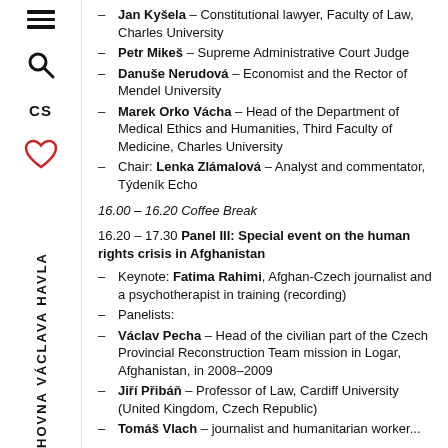Jan Kyšela – Constitutional lawyer, Faculty of Law, Charles University
Petr Mikeš – Supreme Administrative Court Judge
Danuše Nerudová – Economist and the Rector of Mendel University
Marek Orko Vácha – Head of the Department of Medical Ethics and Humanities, Third Faculty of Medicine, Charles University
Chair: Lenka Zlámalová – Analyst and commentator, Týdeník Echo
16.00 – 16.20 Coffee Break
16.20 – 17.30 Panel III: Special event on the human rights crisis in Afghanistan
Keynote: Fatima Rahimi, Afghan-Czech journalist and a psychotherapist in training (recording)
Panelists:
Václav Pecha – Head of the civilian part of the Czech Provincial Reconstruction Team mission in Logar, Afghanistan, in 2008–2009
Jiří Přibáň – Professor of Law, Cardiff University (United Kingdom, Czech Republic)
Tomáš Vlach – journalist and humanitarian worker...